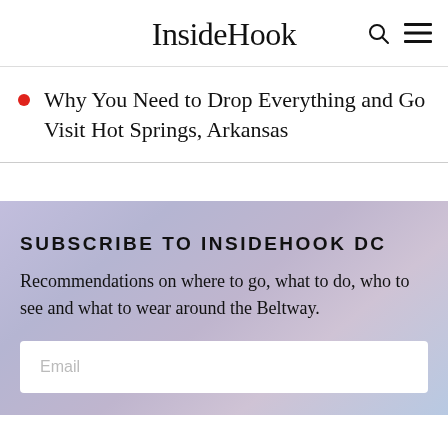InsideHook
Why You Need to Drop Everything and Go Visit Hot Springs, Arkansas
SUBSCRIBE TO INSIDEHOOK DC
Recommendations on where to go, what to do, who to see and what to wear around the Beltway.
Email